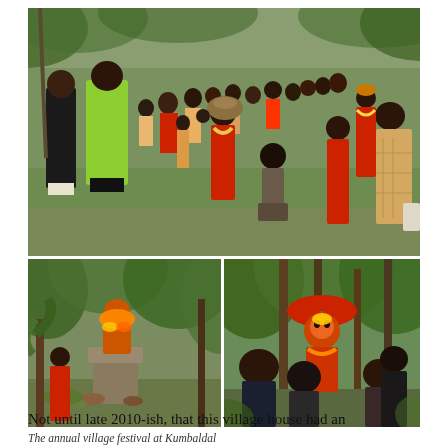[Figure (photo): Three photographs of an annual village festival at Kumbaldal. Top: a large outdoor gathering with people in red and colorful clothing performing a ritual on grassy ground. Bottom-left: a person in red standing before a decorated shrine or idol adorned with flowers. Bottom-right: a decorated figure under a red umbrella surrounded by onlookers in a forested area.]
The annual village festival at Kumbaldal
Not until late 2010-ish, that this village house had an